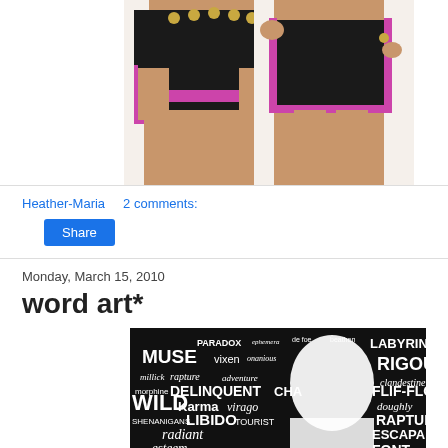[Figure (photo): Two women modeling black and pink/magenta athletic shorts/skirts with gold button details]
Heather-Maria    2 comments:
Share
Monday, March 15, 2010
word art*
[Figure (illustration): Black and white word art illustration of a woman's silhouette/profile made up of various words including MUSE, WILD, LABYRINTH, RIGOUR, FLIF-FLOF, Karma, LIBIDO, radiant, esteem, catastrophe, extraneous, ubiquitous, lucalescent, divine, Byzantine, killer, DELINQUENT, CHA, virago, SHENANIGANS, RAPTURE, ESCAPADE, doughly, clandestine, adventure, artist, tham-wow, batmans, stronger, BAROQUE, and others]